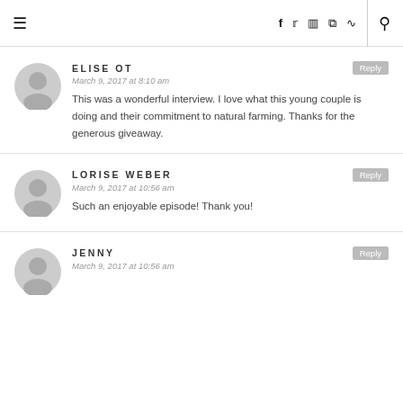≡  f  𝕥  ◻  ⓟ  ⌘  🔍
ELISE OT
March 9, 2017 at 8:10 am
This was a wonderful interview. I love what this young couple is doing and their commitment to natural farming. Thanks for the generous giveaway.
LORISE WEBER
March 9, 2017 at 10:56 am
Such an enjoyable episode! Thank you!
JENNY
March 9, 2017 at 10:56 am